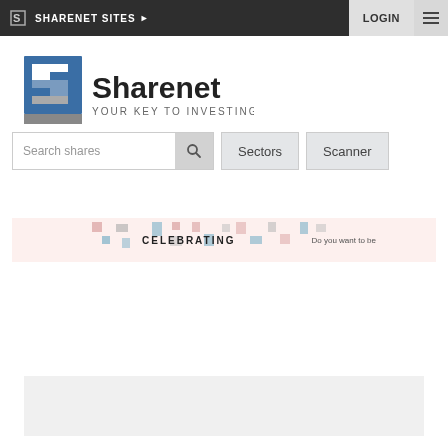SHARENET SITES  LOGIN
[Figure (logo): Sharenet logo: stylized S icon with text 'Sharenet' and tagline 'YOUR KEY TO INVESTING']
[Figure (screenshot): Search bar with placeholder 'Search shares', a search icon button, and two buttons labeled 'Sectors' and 'Scanner']
[Figure (infographic): Banner ad with text 'CELEBRATING' and colorful decorative squares, with text 'Do you want to be' on the right side]
[Figure (other): Light grey rectangular placeholder box at the bottom of the page]